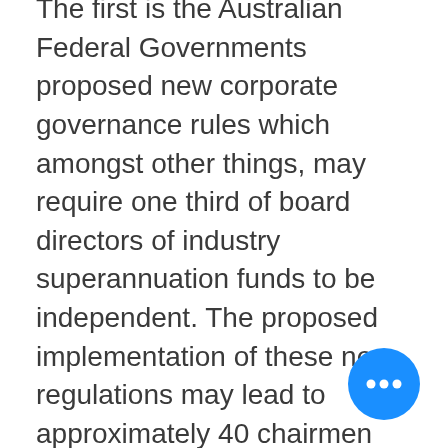The first is the Australian Federal Governments proposed new corporate governance rules which amongst other things, may require one third of board directors of industry superannuation funds to be independent. The proposed implementation of these new regulations may lead to approximately 40 chairmen from Australia's biggest industry super funds needing to be replaced. This will mostly impact, non-profit funds e.g. union-backed industry funds and corporate funds such as, Rio Tinto, Australia Post, and other public sector funds. Unsurprisingly, it would appear that little consideration has been given the question, where the replacements the displaced chairman and directors